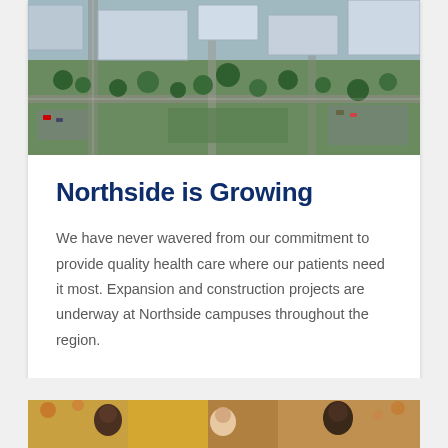[Figure (photo): Aerial rendering of Northside hospital campus with buildings, trees, roads, and green lawns]
Northside is Growing
We have never wavered from our commitment to provide quality health care where our patients need it most. Expansion and construction projects are underway at Northside campuses throughout the region.
READ MORE →
[Figure (photo): Group of people outdoors in autumn setting, smiling]